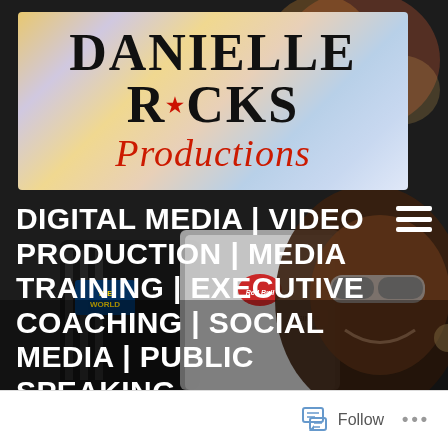[Figure (photo): Danielle Ricks Productions website screenshot showing logo banner with dark bokeh background, two people in racing/sports attire in the background photo, and a smiling woman with sunglasses in foreground]
DANIELLE RICKS Productions
DIGITAL MEDIA | VIDEO PRODUCTION | MEDIA TRAINING | EXECUTIVE COACHING | SOCIAL MEDIA | PUBLIC SPEAKING
Follow ...